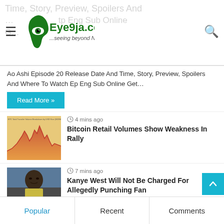Eye9ja.com — ...seeing beyond NEWS
Ao Ashi Episode 20 Release Date And Time, Story, Preview, Spoilers And Where To Watch Ep Eng Sub Online Get…
Read More »
[Figure (screenshot): Thumbnail image of a Bitcoin retail volume chart showing area chart with orange/red colors]
4 mins ago
Bitcoin Retail Volumes Show Weakness In Rally
[Figure (photo): Photo of Kanye West looking to the side, outdoors, wearing a light colored shirt]
7 mins ago
Kanye West Will Not Be Charged For Allegedly Punching Fan
Popular | Recent | Comments